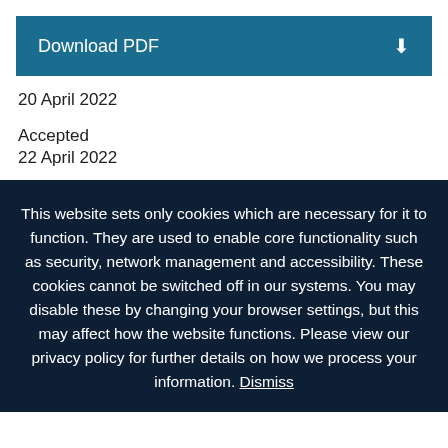[Figure (other): Download PDF button with dark teal background and download icon on the right]
20 April 2022
Accepted
22 April 2022
This website sets only cookies which are necessary for it to function. They are used to enable core functionality such as security, network management and accessibility. These cookies cannot be switched off in our systems. You may disable these by changing your browser settings, but this may affect how the website functions. Please view our privacy policy for further details on how we process your information. Dismiss